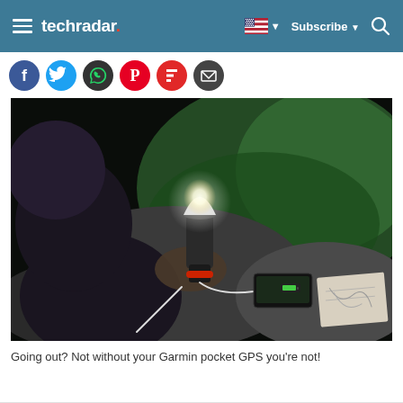techradar — Subscribe — Search
[Figure (illustration): Row of social media share icons: Facebook, Twitter, WhatsApp, Pinterest, Flipboard, Email]
[Figure (photo): Person in dark outdoor gear holding a glowing lantern/light device connected via cable to a smartphone, with a paper map visible; set against a mossy rock background at night]
Going out? Not without your Garmin pocket GPS you're not!